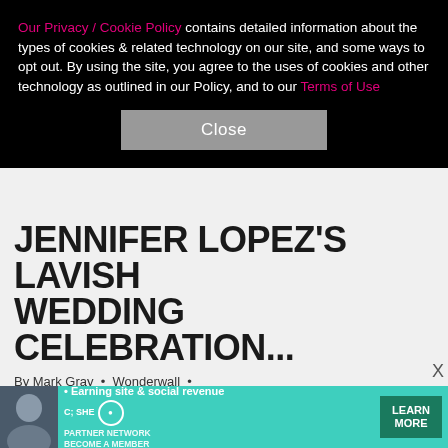Our Privacy / Cookie Policy contains detailed information about the types of cookies & related technology on our site, and some ways to opt out. By using the site, you agree to the uses of cookies and other technology as outlined in our Policy, and to our Terms of Use
Close
JENNIFER LOPEZ'S LAVISH WEDDING CELEBRATION...
By Mark Gray • Wonderwall •
10:49am PDT, Aug 22, 2022
Casey Affleck opted for soccer over celebration.
Over the weekend, much was made over Casey skipping out on his brother's lavish wedding ceremony in Georgia. The Oscar-winning actor only added to the
[Figure (infographic): Advertisement banner for SHE Partner Network - Earning site & social revenue. Features a woman's photo on the left, SHE logo, and a Learn More button.]